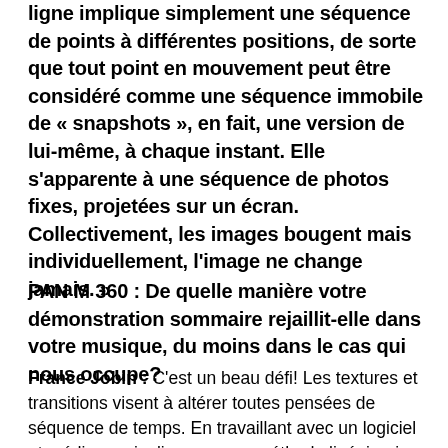ligne implique simplement une séquence de points à différentes positions, de sorte que tout point en mouvement peut être considéré comme une séquence immobile de "snapshots", en fait, une version de lui-même, à chaque instant. Elle s'apparente à une séquence de photos fixes, projetées sur un écran. Collectivement, les images bougent mais individuellement, l'image ne change jamais. »
PAN M 360 : De quelle manière votre démonstration sommaire rejaillit-elle dans votre musique, du moins dans le cas qui nous occupe?
France Jobin : C'est un beau défi! Les textures et transitions visent à altérer toutes pensées de séquence de temps. En travaillant avec un logiciel et médium qui m'impose une méthode linéaire, je vais utiliser